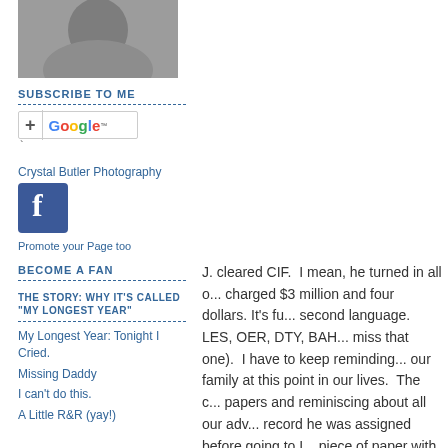[Figure (photo): Grayscale photo of a person, partially cropped]
SUBSCRIBE TO ME
[Figure (screenshot): Google subscribe button with plus sign]
`
Crystal Butler Photography
[Figure (logo): Facebook logo icon]
Promote your Page too
BECOME A FAN
THE STORY: WHY IT'S CALLED "MY LONGEST YEAR"
My Longest Year: Tonight I Cried.
Missing Daddy
I can't do this.
A Little R&R (yay!)
J. cleared CIF.  I mean, he turned in all o... charged $3 million and four dollars. It's fu... second language.  LES, OER, DTY, BAH... miss that one).  I have to keep reminding... our family at this point in our lives.  The c... papers and reminiscing about all our adv... record he was assigned before going to I... piece of paper with personal identifying i... thing Delta Force or Special Ops would h... be called in to rescue him from a kidnapp... susceptible than larger units).  There we...